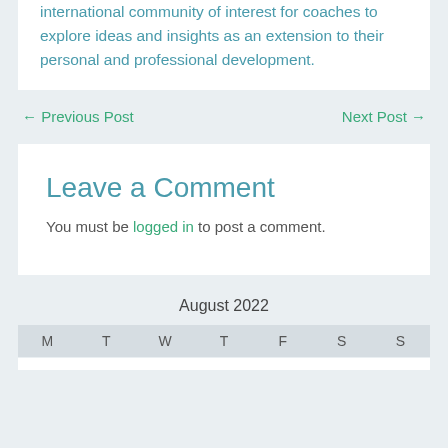international community of interest for coaches to explore ideas and insights as an extension to their personal and professional development.
← Previous Post
Next Post →
Leave a Comment
You must be logged in to post a comment.
August 2022
| M | T | W | T | F | S | S |
| --- | --- | --- | --- | --- | --- | --- |
|  |  |  |  |  |  |  |